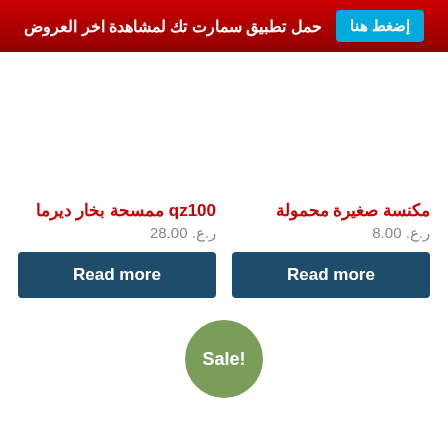إضغط هنا  حمل تطبيق سمارت تك لمشاهدة اخر العروض
مكنسة صغيرة محمولة
ر.ع. 8.00
Read more
qz100 ممسحة بخار ديرما
ر.ع. 28.00
Read more
Sale!